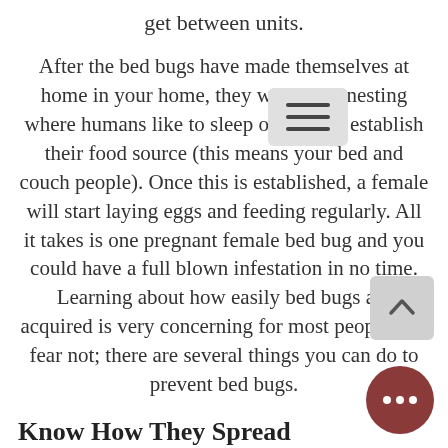get between units.
After the bed bugs have made themselves at home in your home, they will begin nesting where humans like to sleep or relax to establish their food source (this means your bed and couch people). Once this is established, a female will start laying eggs and feeding regularly. All it takes is one pregnant female bed bug and you could have a full blown infestation in no time. Learning about how easily bed bugs are acquired is very concerning for most people, but fear not; there are several things you can do to prevent bed bugs.
Know How They Spread